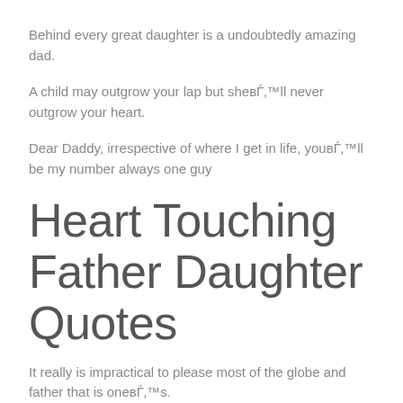Behind every great daughter is a undoubtedly amazing dad.
A child may outgrow your lap but she вЂ™ll never outgrow your heart.
Dear Daddy, irrespective of where I get in life, you вЂ™ll be my number always one guy
Heart Touching Father Daughter Quotes
It really is impractical to please most of the globe and father that is one вЂ™s.
Old she still missed her daddy sometimes as she was.